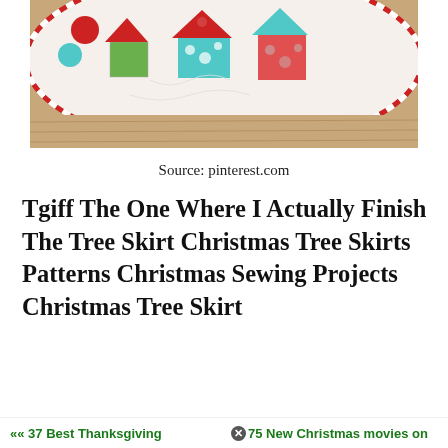[Figure (photo): A circular Christmas tree skirt quilt made of patchwork fabric houses in red, turquoise, and green patterns, with a red and white striped candy cane border, photographed on a wooden floor.]
Source: pinterest.com
Tgiff The One Where I Actually Finish The Tree Skirt Christmas Tree Skirts Patterns Christmas Sewing Projects Christmas Tree Skirt
«« 37 Best Thanksgiving        ✖75 New Christmas movies on